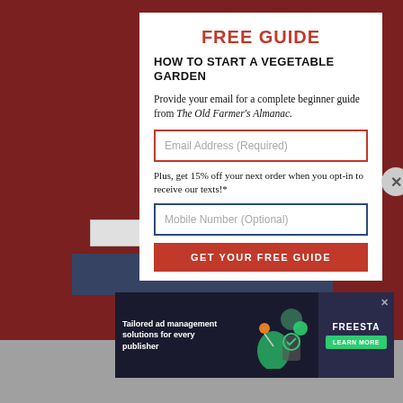FREE GUIDE
HOW TO START A VEGETABLE GARDEN
Provide your email for a complete beginner guide from The Old Farmer's Almanac.
Email Address (Required)
Plus, get 15% off your next order when you opt-in to receive our texts!*
Mobile Number (Optional)
GET YOUR FREE GUIDE
[Figure (screenshot): Advertisement banner for Freestar ad management solutions with text 'Tailored ad management solutions for every publisher' and a 'LEARN MORE' button]
You will also be subscribed to our Almanac Companion Newsletter. We will never share your information within